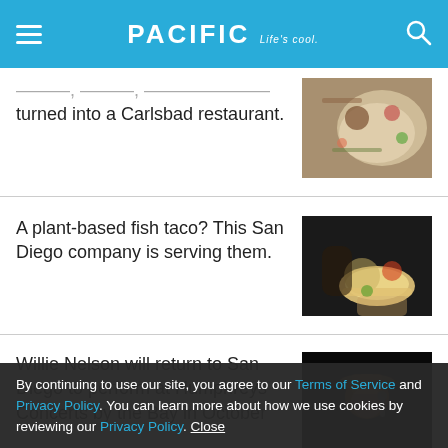PACIFIC Life's cool.
turned into a Carlsbad restaurant.
A plant-based fish taco? This San Diego company is serving them.
Willie Nelson will return to San Diego to perform at Humphreys Concerts by the Bay in October
By continuing to use our site, you agree to our Terms of Service and Privacy Policy. You can learn more about how we use cookies by reviewing our Privacy Policy. Close